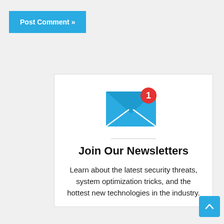Post Comment »
[Figure (illustration): Blue envelope icon with a red notification badge showing the number 1]
Join Our Newsletters
Learn about the latest security threats, system optimization tricks, and the hottest new technologies in the industry.